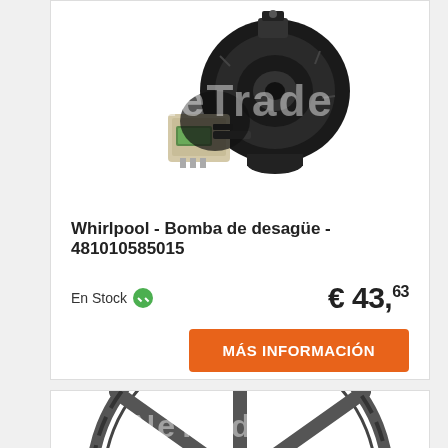[Figure (photo): Whirlpool drain pump motor unit (black with connector), watermarked with 'NeTrade']
Whirlpool - Bomba de desagüe - 481010585015
En Stock
€ 43,63
MÁS INFORMACIÓN
[Figure (photo): Washing machine drum wheel/pulley (large metallic), watermarked with 'NeTrade']